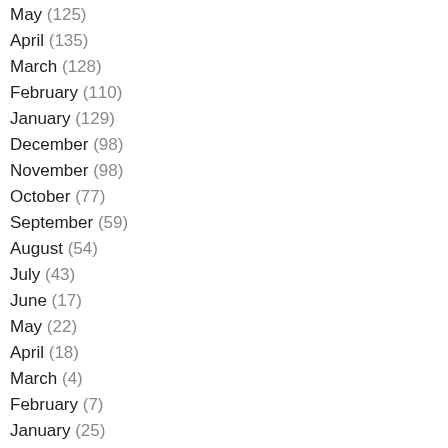May (125)
April (135)
March (128)
February (110)
January (129)
December (98)
November (98)
October (77)
September (59)
August (54)
July (43)
June (17)
May (22)
April (18)
March (4)
February (7)
January (25)
December (13)
November (8)
October (10)